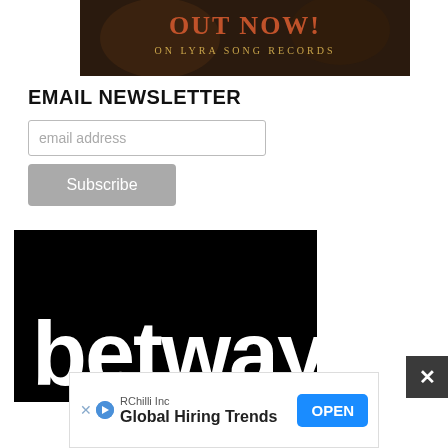[Figure (illustration): Dark fantasy promotional banner with text 'OUT NOW! ON LYRA SONG RECORDS' in orange/gold lettering on a dark background]
EMAIL NEWSLETTER
[Figure (screenshot): Email input field with placeholder text 'email address']
[Figure (screenshot): Grey Subscribe button]
[Figure (logo): Betway logo - white bold text 'betway' on black background]
[Figure (screenshot): Close button (X) in dark grey]
[Figure (screenshot): Bottom advertisement banner for RChilli Inc - Global Hiring Trends with OPEN button]